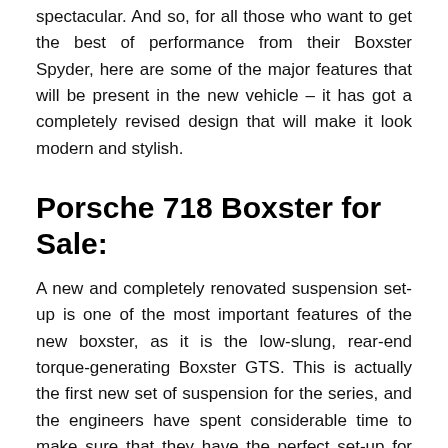spectacular. And so, for all those who want to get the best of performance from their Boxster Spyder, here are some of the major features that will be present in the new vehicle – it has got a completely revised design that will make it look modern and stylish.
Porsche 718 Boxster for Sale:
A new and completely renovated suspension set-up is one of the most important features of the new boxster, as it is the low-slung, rear-end torque-generating Boxster GTS. This is actually the first new set of suspension for the series, and the engineers have spent considerable time to make sure that they have the perfect set-up for the new vehicle. The new system uses high-performance springs and dampers to deliver the power to the rear axle of the vehicle. It is